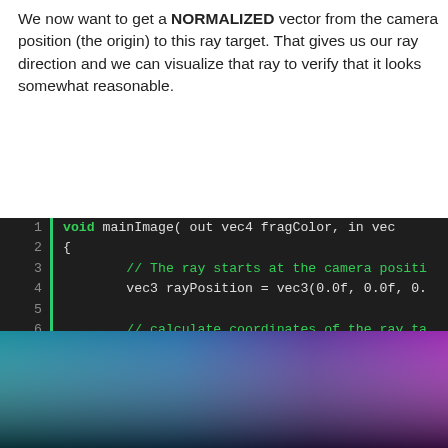We now want to get a NORMALIZED vector from the camera position (the origin) to this ray target. That gives us our ray direction and we can visualize that ray to verify that it looks somewhat reasonable.
[Figure (screenshot): Code editor screenshot showing GLSL shader code with green syntax highlighting on dark background. Lines 1-16 showing mainImage function with ray direction calculation.]
[Figure (illustration): Rendered output image showing a gradient from teal/blue on the left to purple/magenta on the right, dark at the bottom, representing the ray direction visualization.]